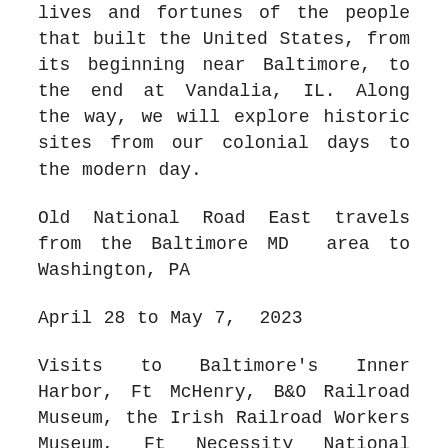lives and fortunes of the people that built the United States, from its beginning near Baltimore, to the end at Vandalia, IL. Along the way, we will explore historic sites from our colonial days to the modern day.
Old National Road East travels from the Baltimore MD  area to Washington, PA
April 28 to May 7,  2023
Visits to Baltimore's Inner Harbor, Ft McHenry, B&O Railroad Museum, the Irish Railroad Workers Museum, Ft Necessity National Battlefield, Laurel Caverns, Western Maryland Scenic Railway, Bradford House and Lemoyne House are planned.